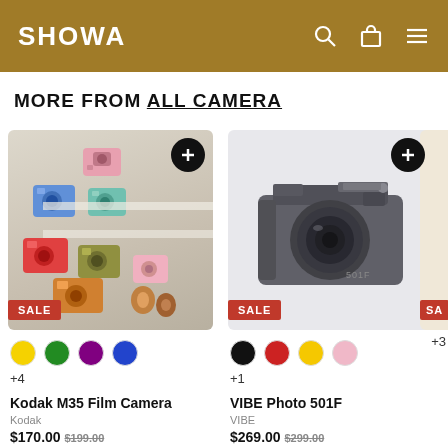SHOWA
MORE FROM ALL CAMERA
[Figure (photo): Kodak M35 Film Camera product image showing multiple colorful cameras, with SALE badge, color swatches (yellow, green, purple, blue), +4 variants]
Kodak M35 Film Camera
Kodak
$170.00
[Figure (photo): VIBE Photo 501F dark grey film camera on light background, with SALE badge, color swatches (black, red, yellow, pink), +1 variant]
VIBE Photo 501F
VIBE
$269.00 $299.00
[Figure (photo): Kodak Camera third product partially visible with SALE badge, yellow swatch, +3 variants]